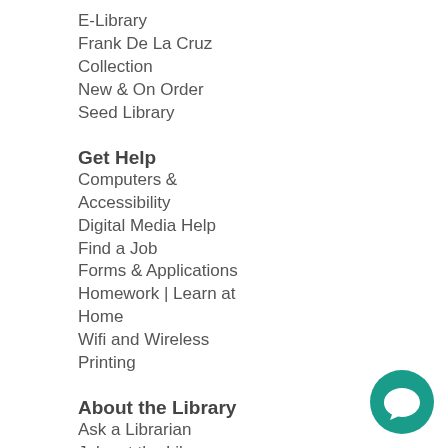E-Library
Frank De La Cruz Collection
New & On Order
Seed Library
Get Help
Computers & Accessibility
Digital Media Help
Find a Job
Forms & Applications
Homework | Learn at Home
Wifi and Wireless Printing
About the Library
Ask a Librarian
Jobs at the Library
Newsroom
Policies
Support Us
Social Media
[Figure (illustration): Teal circular chat bubble icon in the bottom-right corner]